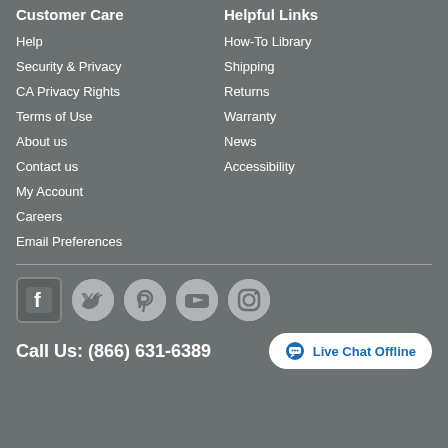Customer Care
Help
Security & Privacy
CA Privacy Rights
Terms of Use
About us
Contact us
My Account
Careers
Email Preferences
Helpful Links
How-To Library
Shipping
Returns
Warranty
News
Accessibility
[Figure (other): Social media icons: Facebook, Twitter, Pinterest, YouTube, Instagram]
Call Us: (866) 631-6389
Live Chat Offline